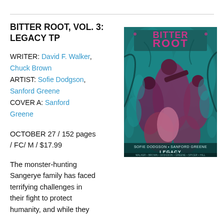BITTER ROOT, VOL. 3: LEGACY TP
WRITER: David F. Walker, Chuck Brown
ARTIST: Sofie Dodgson, Sanford Greene
COVER A: Sanford Greene
OCTOBER 27 / 152 pages / FC/ M / $17.99
[Figure (illustration): Comic book cover of Bitter Root Vol. 3: Legacy showing action figures in teal and magenta tones]
The monster-hunting Sangerye family has faced terrifying challenges in their fight to protect humanity, and while they